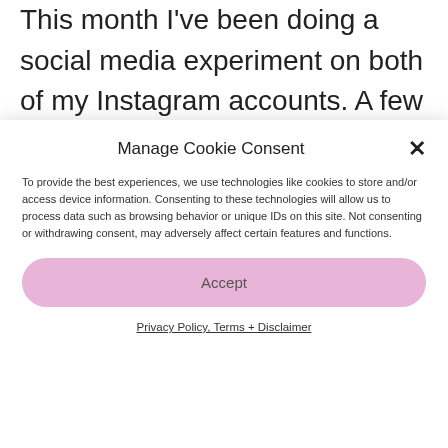This month I've been doing a social media experiment on both of my Instagram accounts. A few weeks ago I was struck by how judgemental and negative comments impact me. They disrupt my creative process and get in the way of me doing what I do best – helping my parents and
Manage Cookie Consent
To provide the best experiences, we use technologies like cookies to store and/or access device information. Consenting to these technologies will allow us to process data such as browsing behavior or unique IDs on this site. Not consenting or withdrawing consent, may adversely affect certain features and functions.
Accept
Privacy Policy, Terms + Disclaimer